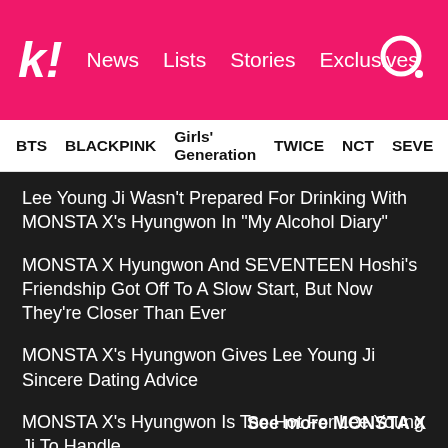k! News Lists Stories Exclusives
BTS BLACKPINK Girls' Generation TWICE NCT SEVE
Lee Young Ji Wasn't Prepared For Drinking With MONSTA X's Hyungwon In “My Alcohol Diary”
MONSTA X Hyungwon And SEVENTEEN Hoshi’s Friendship Got Off To A Slow Start, But Now They’re Closer Than Ever
MONSTA X’s Hyungwon Gives Lee Young Ji Sincere Dating Advice
MONSTA X’s Hyungwon Is Too Hot For Lee Young Ji To Handle
See more MONSTA X